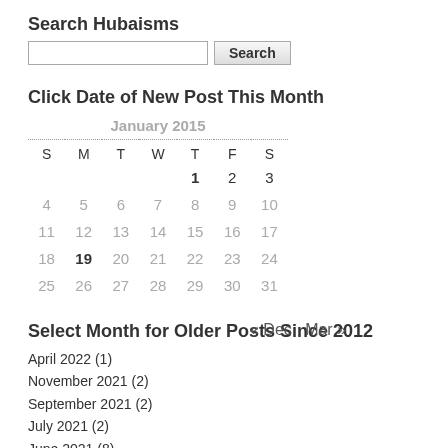Search Hubaisms
[search input] [Search button]
Click Date of New Post This Month
| S | M | T | W | T | F | S |
| --- | --- | --- | --- | --- | --- | --- |
|  |  |  |  | 1 | 2 | 3 |
| 4 | 5 | 6 | 7 | 8 | 9 | 10 |
| 11 | 12 | 13 | 14 | 15 | 16 | 17 |
| 18 | 19 | 20 | 21 | 22 | 23 | 24 |
| 25 | 26 | 27 | 28 | 29 | 30 | 31 |
Select Month for Older Posts Since 2012
« Dec   Mar »
April 2022 (1)
November 2021 (2)
September 2021 (2)
July 2021 (2)
June 2021 (8)
May 2021 (4)